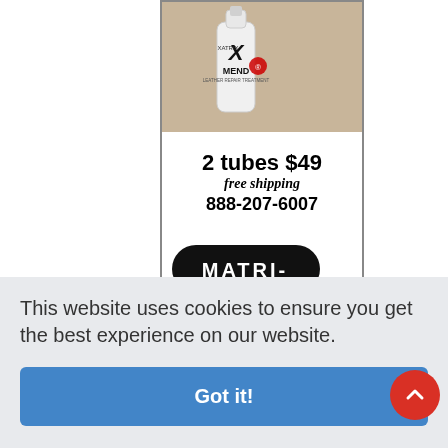[Figure (photo): Advertisement for MATRI-X (Mobile Aesthetic Technical Repair Institute) showing a white tube of X-MEND leather repair product, with text '2 tubes $49 free shipping 888-207-6007' and the MATRI-X logo at the bottom.]
This website uses cookies to ensure you get the best experience on our website.
Got it!